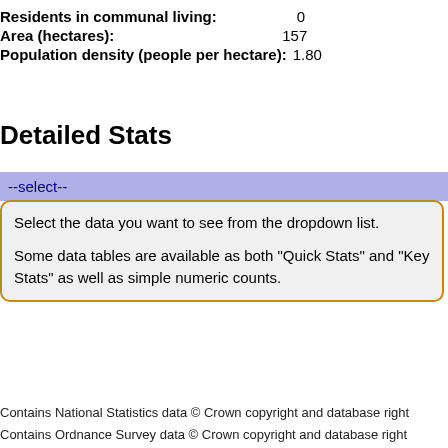Residents in communal living: 0
Area (hectares): 157
Population density (people per hectare): 1.80
Detailed Stats
--select--
Select the data you want to see from the dropdown list.

Some data tables are available as both "Quick Stats" and "Key Stats" as well as simple numeric counts.
Contains National Statistics data © Crown copyright and database right
Contains Ordnance Survey data © Crown copyright and database right